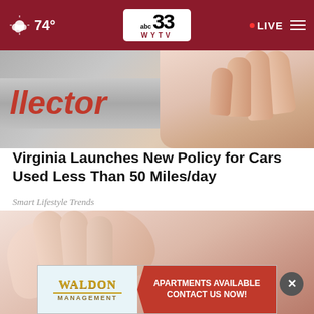74° | abc 33 WYTV | LIVE
[Figure (photo): Close-up photo of a hand holding or touching a license plate sticker showing '20']
Virginia Launches New Policy for Cars Used Less Than 50 Miles/day
Smart Lifestyle Trends
[Figure (photo): Close-up photo of a hand touching skin with a mole visible, with a circular close button overlay and a Waldon Management apartment advertisement banner at the bottom]